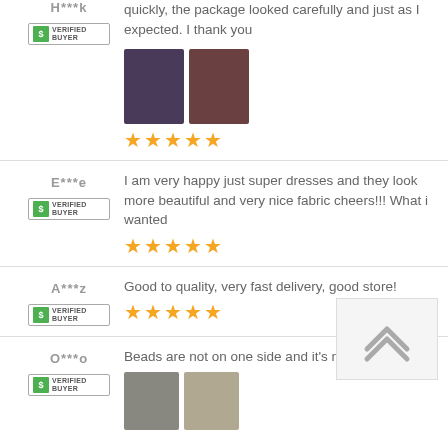quickly, the package looked carefully and just as I expected. I thank you
[Figure (photo): Two product photos showing dark floral dresses]
★★★★★
E***e
I am very happy just super dresses and they look more beautiful and very nice fabric cheers!!! What i wanted
★★★★★
A***z
Good to quality, very fast delivery, good store!
★★★★★
O***o
Beads are not on one side and it's not xxl
[Figure (photo): Two product photos showing white/grey fabric]